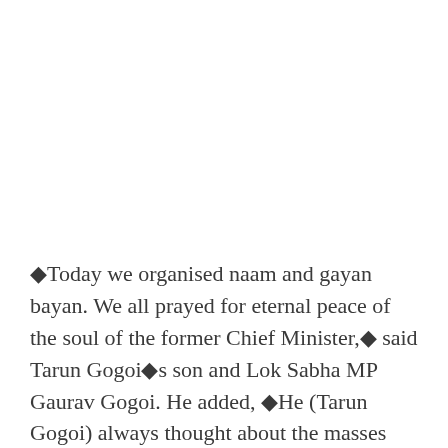◆Today we organised naam and gayan bayan. We all prayed for eternal peace of the soul of the former Chief Minister,◆ said Tarun Gogoi◆s son and Lok Sabha MP Gaurav Gogoi. He added, ◆He (Tarun Gogoi) always thought about the masses and their welfare. We also hold similar views. Many people have lost their families or